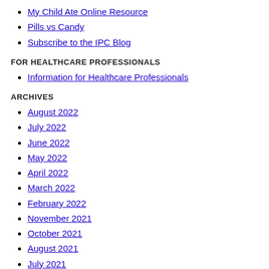My Child Ate Online Resource
Pills vs Candy
Subscribe to the IPC Blog
FOR HEALTHCARE PROFESSIONALS
Information for Healthcare Professionals
ARCHIVES
August 2022
July 2022
June 2022
May 2022
April 2022
March 2022
February 2022
November 2021
October 2021
August 2021
July 2021